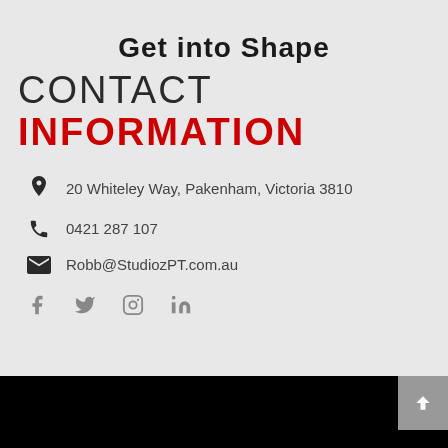Get into Shape
CONTACT INFORMATION
20 Whiteley Way, Pakenham, Victoria 3810
0421 287 107
Robb@StudiozPT.com.au
[Figure (infographic): Social media icons row: Facebook, Twitter, Instagram, LinkedIn]
[Figure (photo): Black image strip at bottom of page with grey scroll-to-top button]